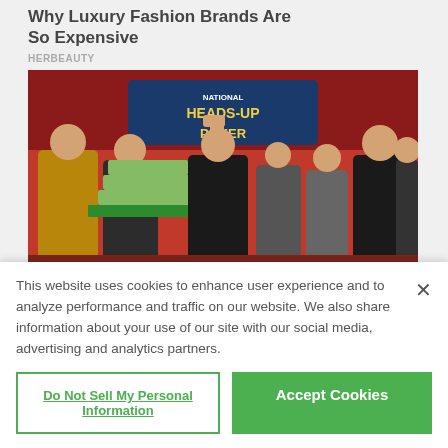Why Luxury Fashion Brands Are So Expensive
HERBEAUTY
[Figure (photo): Group of people at National Heads-Up Poker championship, winner holds stacks of cash money on a tray with arm raised]
This website uses cookies to enhance user experience and to analyze performance and traffic on our website. We also share information about your use of our site with our social media, advertising and analytics partners.
Do Not Sell My Personal Information
Accept Cookies